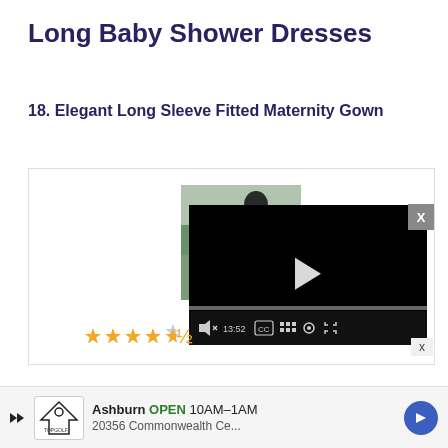Long Baby Shower Dresses
18. Elegant Long Sleeve Fitted Maternity Gown
[Figure (screenshot): Video player showing a maternity gown video with play button, progress bar, and controls including time 13:52, CC, grid, settings, and fullscreen icons. Star rating of 4.5 stars shown below the player. Close X button visible at top right.]
Ashburn OPEN 10AM–1AM 20356 Commonwealth Ce...